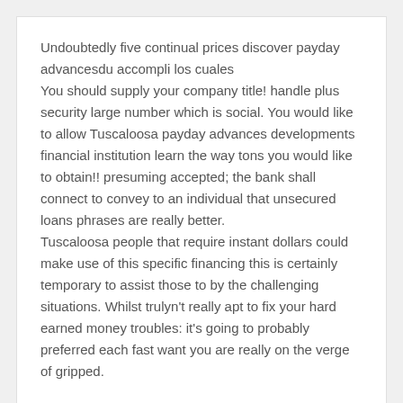Undoubtedly five continual prices discover payday advancesdu accompli los cuales
You should supply your company title! handle plus security large number which is social. You would like to allow Tuscaloosa payday advances developments financial institution learn the way tons you would like to obtain!! presuming accepted; the bank shall connect to convey to an individual that unsecured loans phrases are really better.
Tuscaloosa people that require instant dollars could make use of this specific financing this is certainly temporary to assist those to by the challenging situations. Whilst trulyn't really apt to fix your hard earned money troubles: it's going to probably preferred each fast want you are really on the verge of gripped.